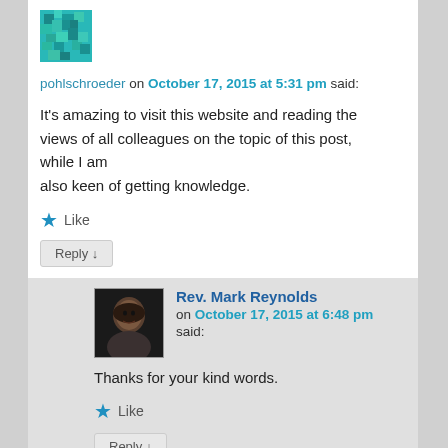[Figure (illustration): Teal/turquoise pixelated avatar icon for user pohlschroeder]
pohlschroeder on October 17, 2015 at 5:31 pm said:
It's amazing to visit this website and reading the views of all colleagues on the topic of this post, while I am also keen of getting knowledge.
★ Like
Reply ↓
[Figure (photo): Photo of Rev. Mark Reynolds, a man in dark clothing against dark background]
Rev. Mark Reynolds on October 17, 2015 at 6:48 pm said:
Thanks for your kind words.
★ Like
Reply ↓